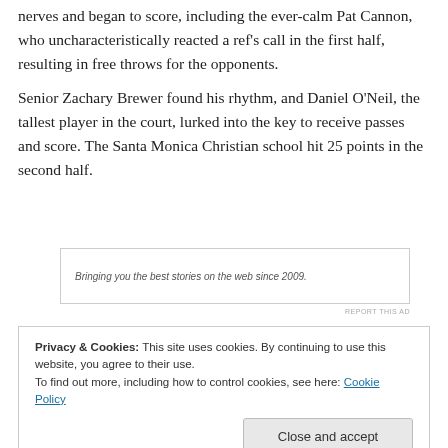nerves and began to score, including the ever-calm Pat Cannon, who uncharacteristically reacted a ref's call in the first half, resulting in free throws for the opponents.
Senior Zachary Brewer found his rhythm, and Daniel O'Neil, the tallest player in the court, lurked into the key to receive passes and score. The Santa Monica Christian school hit 25 points in the second half.
Bringing you the best stories on the web since 2009.
REPORT THIS AD
Privacy & Cookies: This site uses cookies. By continuing to use this website, you agree to their use.
To find out more, including how to control cookies, see here: Cookie Policy
Close and accept